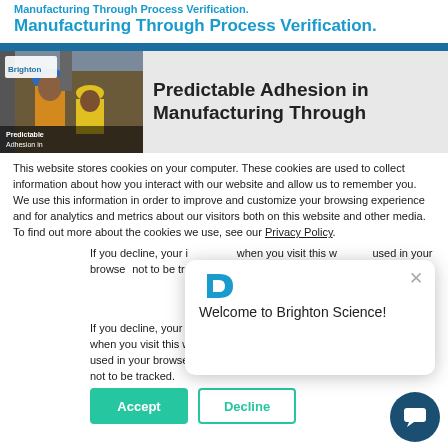Manufacturing Through Process Verification.
[Figure (screenshot): Brighton Science whitepaper cover image showing industrial workers in hard hats with text 'Predictable Adhesion in Manufacturing Through']
This website stores cookies on your computer. These cookies are used to collect information about how you interact with our website and allow us to remember you. We use this information in order to improve and customize your browsing experience and for analytics and metrics about our visitors both on this website and other media. To find out more about the cookies we use, see our Privacy Policy.
If you decline, your information won't be tracked when you visit this website. A single cookie will be used in your browser to remember your preference not to be tracked.
[Figure (screenshot): Chat popup overlay with Brighton Science logo and text 'Welcome to Brighton Science!' with close X button]
Accept
Decline